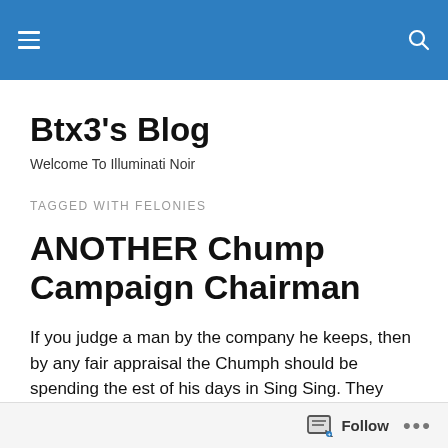Btx3's Blog — navigation header bar
Btx3's Blog
Welcome To Illuminati Noir
TAGGED WITH FELONIES
ANOTHER Chump Campaign Chairman
If you judge a man by the company he keeps, then by any fair appraisal the Chumph should be spending the est of his days in Sing Sing. They may want to reconsider re-
Follow